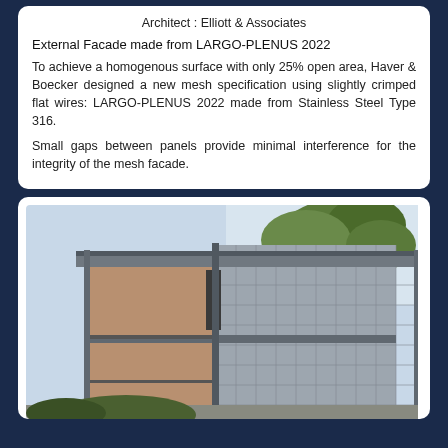Architect : Elliott & Associates
External Facade made from LARGO-PLENUS 2022
To achieve a homogenous surface with only 25% open area, Haver & Boecker designed a new mesh specification using slightly crimped flat wires: LARGO-PLENUS 2022 made from Stainless Steel Type 316.
Small gaps between panels provide minimal interference for the integrity of the mesh facade.
[Figure (photo): Exterior photograph of a modern building showing metal mesh facade panels with structural framing, balconies, and trees visible in the background]